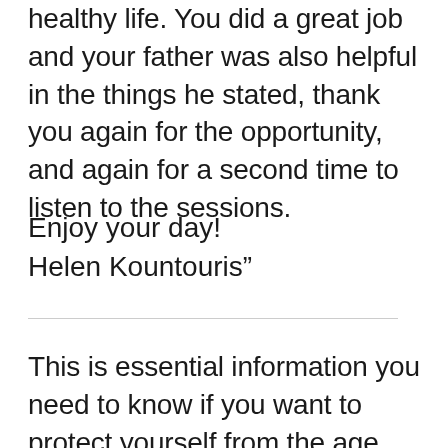healthy life. You did a great job and your father was also helpful in the things he stated, thank you again for the opportunity, and again for a second time to listen to the sessions.
Enjoy your day!
Helen Kountouris”
This is essential information you need to know if you want to protect yourself from the age eroding your brain and body and the deadly epidemic of